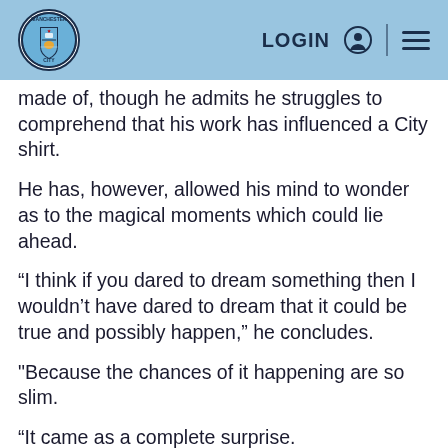Manchester City — LOGIN (navigation header)
made of, though he admits he struggles to comprehend that his work has influenced a City shirt.
He has, however, allowed his mind to wonder as to the magical moments which could lie ahead.
“I think if you dared to dream something then I wouldn’t have dared to dream that it could be true and possibly happen,” he concludes.
"Because the chances of it happening are so slim.
“It came as a complete surprise.
“I don’t know the outcome. Let’s just see what happens and what we’ll do wearing this kit…”